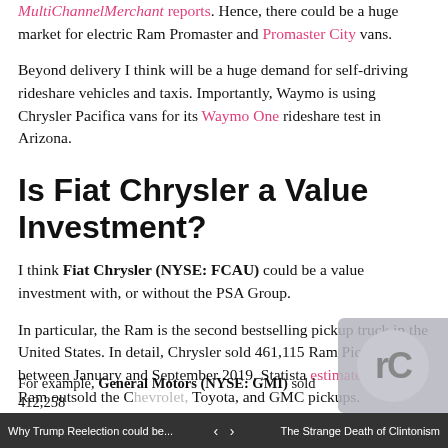MultiChannelMerchant reports. Hence, there could be a huge market for electric Ram Promaster and Promaster City vans.
Beyond delivery I think will be a huge demand for self-driving rideshare vehicles and taxis. Importantly, Waymo is using Chrysler Pacifica vans for its Waymo One rideshare test in Arizona.
Is Fiat Chrysler a Value Investment?
I think Fiat Chrysler (NYSE: FCAU) could be a value investment with, or without the PSA Group.
In particular, the Ram is the second bestselling pickup truck in the United States. In detail, Chrysler sold 461,115 Ram Pickups between January and September 2019, Statista estimates. Thus, Ram outsold the Chevrolet, Toyota, and GMC pickups.
For example, General Motors (NYSE: GMI) sold 412,258
Why Trump Reelection could be... < > The Strange Death of Clintonism